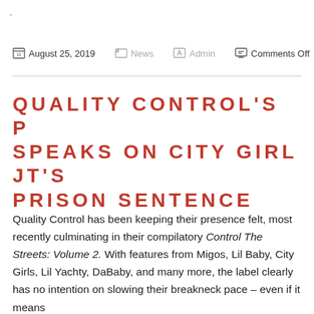.
August 25, 2019  |  News  |  Admin  |  Comments Off
QUALITY CONTROL'S P SPEAKS ON CITY GIRL JT'S PRISON SENTENCE
Quality Control has been keeping their presence felt, most recently culminating in their compilatory Control The Streets: Volume 2. With features from Migos, Lil Baby, City Girls, Lil Yachty, DaBaby, and many more, the label clearly has no intention on slowing their breakneck pace – even if it means